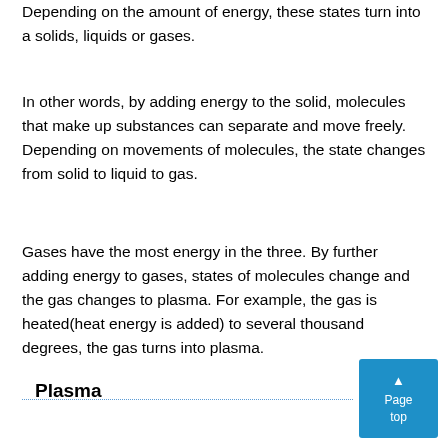Depending on the amount of energy, these states turn into a solids, liquids or gases.
In other words, by adding energy to the solid, molecules that make up substances can separate and move freely. Depending on movements of molecules, the state changes from solid to liquid to gas.
Gases have the most energy in the three. By further adding energy to gases, states of molecules change and the gas changes to plasma. For example, the gas is heated(heat energy is added) to several thousand degrees, the gas turns into plasma.
Plasma